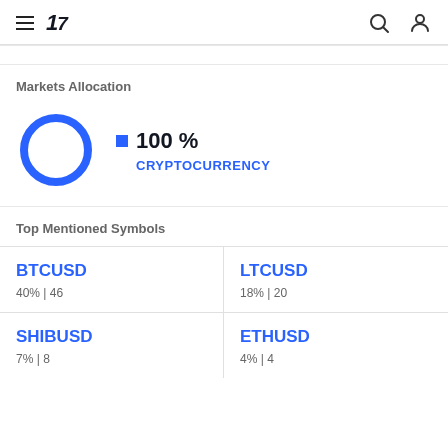TradingView navigation header
Markets Allocation
[Figure (donut-chart): Markets Allocation]
Top Mentioned Symbols
BTCUSD
40% | 46
LTCUSD
18% | 20
SHIBUSD
7% | 8
ETHUSD
4% | 4